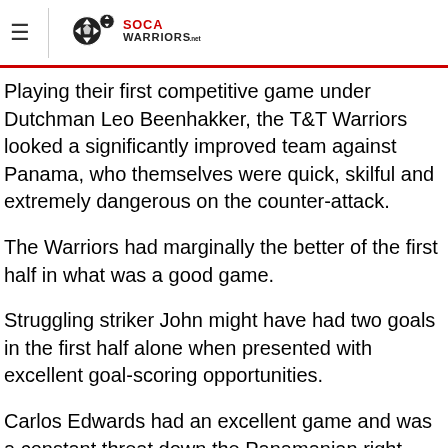SocaWarriors.net
Playing their first competitive game under Dutchman Leo Beenhakker, the T&T Warriors looked a significantly improved team against Panama, who themselves were quick, skilful and extremely dangerous on the counter-attack.
The Warriors had marginally the better of the first half in what was a good game.
Struggling striker John might have had two goals in the first half alone when presented with excellent goal-scoring opportunities.
Carlos Edwards had an excellent game and was a constant threat down the Panamanian right where he breezed past Carlos Rivera-who later had to be